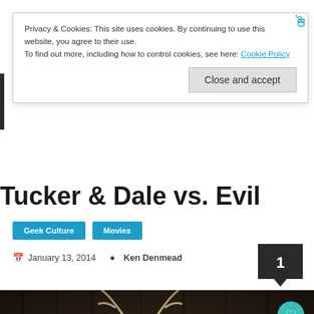Privacy & Cookies: This site uses cookies. By continuing to use this website, you agree to their use.
To find out more, including how to control cookies, see here: Cookie Policy
Close and accept
Tucker & Dale vs. Evil
Geek Culture
Movies
January 13, 2014   Ken Denmead
1
[Figure (photo): Two men in a dark rustic wooden cabin setting. One wears a cap with 'GIV'ER' text, holding his face in his hands. The other man, with a beard and wearing a cap, looks to the side. Antlers visible in background.]